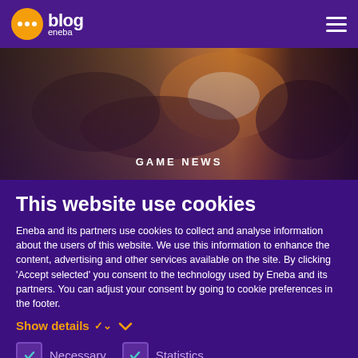blog eneba
[Figure (screenshot): Hero banner image showing a game scene with fire and atmospheric lighting, labeled GAME NEWS]
This website use cookies
Eneba and its partners use cookies to collect and analyse information about the users of this website. We use this information to enhance the content, advertising and other services available on the site. By clicking 'Accept selected' you consent to the technology used by Eneba and its partners. You can adjust your consent by going to cookie preferences in the footer.
Show details
Necessary  Statistics
Accept selected